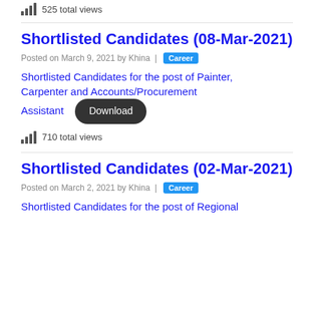525 total views
Shortlisted Candidates (08-Mar-2021)
Posted on March 9, 2021 by Khina | Career
Shortlisted Candidates for the post of Painter, Carpenter and Accounts/Procurement Assistant
710 total views
Shortlisted Candidates (02-Mar-2021)
Posted on March 2, 2021 by Khina | Career
Shortlisted Candidates for the post of Regional